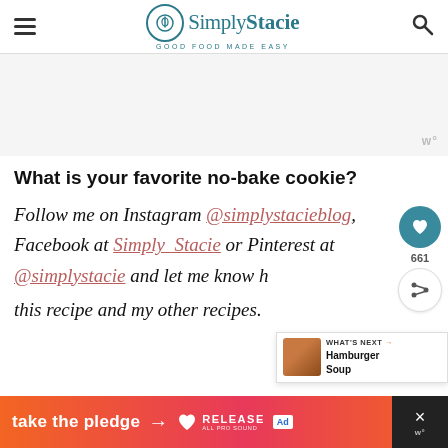Simply Stacie - Good Food Made Easy
[Figure (other): Advertisement placeholder area, gray background with watermark 'w°']
What is your favorite no-bake cookie?
Follow me on Instagram @simplystacieblog, Facebook at Simply Stacie or Pinterest at @simplystacie and let me know how you like this recipe and my other recipes.
[Figure (other): What's Next panel showing Hamburger Soup with thumbnail image]
[Figure (other): Bottom banner ad: take the pledge - Release All Pro Sound]